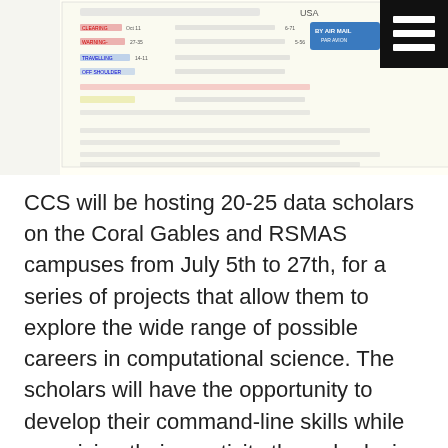[Figure (photo): A photograph of a handwritten air mail document/envelope with 'USA' visible and a blue 'BY AIR MAIL' sticker. There is a black square icon in the top-right corner with three white horizontal lines (hamburger menu icon).]
CCS will be hosting 20-25 data scholars on the Coral Gables and RSMAS campuses from July 5th to 27th, for a series of projects that allow them to explore the wide range of possible careers in computational science. The scholars will have the opportunity to develop their command-line skills while exercising their creativity through playing with geospatial, image, and text data. The program will culminate in a project that brings together the collection, analysis, and visualization of